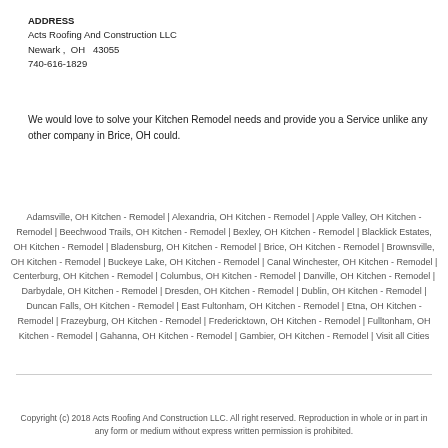ADDRESS
Acts Roofing And Construction LLC
Newark ,  OH   43055
740-616-1829
We would love to solve your Kitchen Remodel needs and provide you a Service unlike any other company in Brice, OH could.
Adamsville, OH Kitchen - Remodel | Alexandria, OH Kitchen - Remodel | Apple Valley, OH Kitchen - Remodel | Beechwood Trails, OH Kitchen - Remodel | Bexley, OH Kitchen - Remodel | Blacklick Estates, OH Kitchen - Remodel | Bladensburg, OH Kitchen - Remodel | Brice, OH Kitchen - Remodel | Brownsville, OH Kitchen - Remodel | Buckeye Lake, OH Kitchen - Remodel | Canal Winchester, OH Kitchen - Remodel | Centerburg, OH Kitchen - Remodel | Columbus, OH Kitchen - Remodel | Danville, OH Kitchen - Remodel | Darbydale, OH Kitchen - Remodel | Dresden, OH Kitchen - Remodel | Dublin, OH Kitchen - Remodel | Duncan Falls, OH Kitchen - Remodel | East Fultonham, OH Kitchen - Remodel | Etna, OH Kitchen - Remodel | Frazeyburg, OH Kitchen - Remodel | Fredericktown, OH Kitchen - Remodel | Fulltonham, OH Kitchen - Remodel | Gahanna, OH Kitchen - Remodel | Gambier, OH Kitchen - Remodel | Visit all Cities
Copyright (c) 2018 Acts Roofing And Construction LLC. All right reserved. Reproduction in whole or in part in any form or medium without express written permission is prohibited.